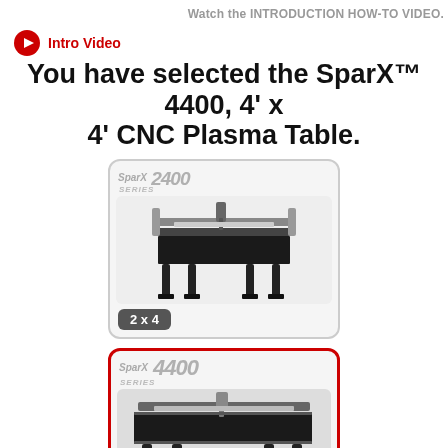Watch the INTRODUCTION HOW-TO VIDEO.
Intro Video
You have selected the SparX™ 4400, 4' x 4' CNC Plasma Table.
[Figure (photo): SparX 2400 Series CNC plasma table product photo with '2 x 4' size badge]
[Figure (photo): SparX 4400 Series CNC plasma table product photo (selected, red border)]